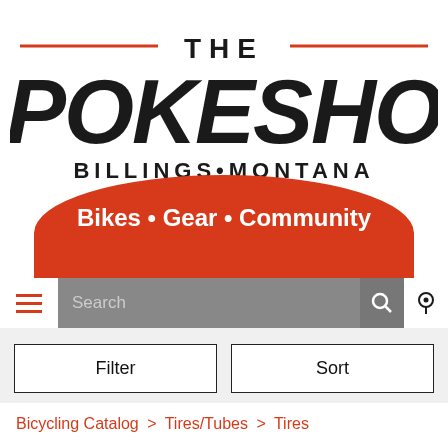[Figure (logo): The Spokeshop logo — Billings Montana, Bikes • Gear • Community, with red arc and decorative lines]
Search
Filter
Sort
Bicycling Catalog > Tires/Tubes > Tires
Tires